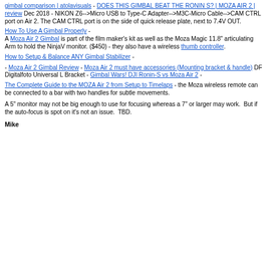gimbal comparison | atolavisuals - DOES THIS GIMBAL BEAT THE RONIN S? | MOZA AIR 2 | review Dec 2018 - NIKON Z6-->Micro USB to Type-C Adapter-->M3C-Micro Cable-->CAM CTRL port on Air 2. The CAM CTRL port is on the side of quick release plate, next to 7.4V OUT.
How To Use A Gimbal Properly - A Moza Air 2 Gimbal is part of the film maker's kit as well as the Moza Magic 11.8" articulating Arm to hold the NinjaV monitor. ($450) - they also have a wireless thumb controller.
How to Setup & Balance ANY Gimbal Stabilizer -
- Moza Air 2 Gimbal Review - Moza Air 2 must have accessories (Mounting bracket & handle) DF Digitalfoto Universal L Bracket - Gimbal Wars! DJI Ronin-S vs Moza Air 2 -
The Complete Guide to the MOZA Air 2 from Setup to Timelaps - the Moza wireless remote can be connected to a bar with two handles for subtle movements.
A 5" monitor may not be big enough to use for focusing whereas a 7" or larger may work.  But if the auto-focus is spot on it's not an issue.  TBD.
Mike